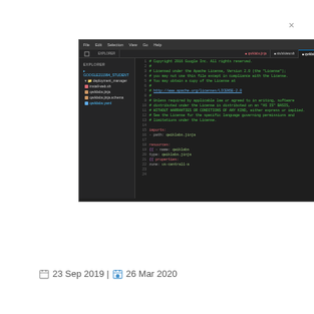[Figure (screenshot): VS Code editor screenshot showing a YAML file (qwiklabs.yaml) open in the editor. Left sidebar shows EXPLORER with deployment_manager folder containing install-web.sh, qwiklabs.jinja, qwiklabs.jinja.schema, and qwiklabs.yaml files. The editor shows a YAML file with Apache License header comments and YAML content with imports and resources sections.]
23 Sep 2019 | 26 Mar 2020